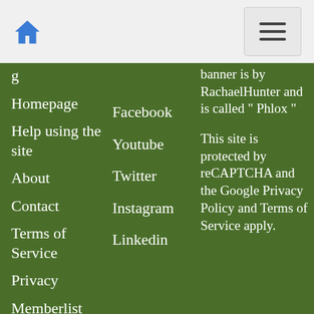Home icon and navigation menu toggle
Homepage
Help using the site
About
Contact
Terms of Service
Privacy
Memberlist
Acorns
Facebook
Youtube
Twitter
Instagram
Linkedin
banner is by RachaelHunter and is called "Phlox"  This site is protected by reCAPTCHA and the Google Privacy Policy and Terms of Service apply.